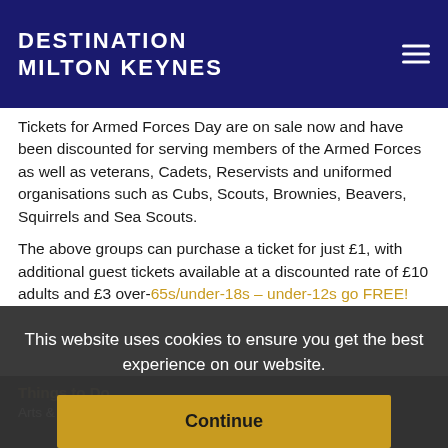DESTINATION MILTON KEYNES
Tickets for Armed Forces Day are on sale now and have been discounted for serving members of the Armed Forces as well as veterans, Cadets, Reservists and uniformed organisations such as Cubs, Scouts, Brownies, Beavers, Squirrels and Sea Scouts.
The above groups can purchase a ticket for just £1, with additional guest tickets available at a discounted rate of £10 adults and £3 over-65s/under-18s – under-12s go FREE!
This website uses cookies to ensure you get the best experience on our website.
Continue
Things to Do
Arts & Heritage, Eating Out, Entertainment, Family